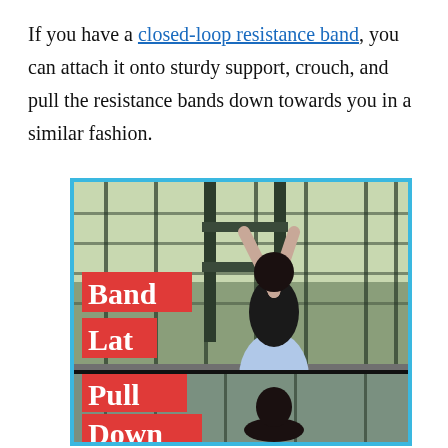If you have a closed-loop resistance band, you can attach it onto sturdy support, crouch, and pull the resistance bands down towards you in a similar fashion.
[Figure (photo): A woman in athletic wear (black sports top, light blue leggings) crouching and pulling bars at an outdoor fitness area with chain-link fencing. Red overlay text labels read 'Band Lat Pull Down'. The image is divided into two panels with a cyan/blue border.]